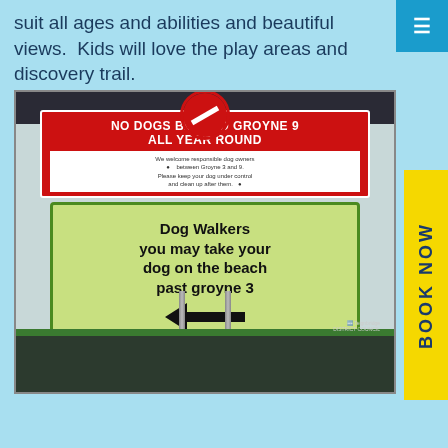suit all ages and abilities and beautiful views.  Kids will love the play areas and discovery trail.
[Figure (photo): Photo of two beach signs on poles. Top sign has red background reading 'NO DOGS BEYOND GROYNE 9 ALL YEAR ROUND' with a white section below about responsible dog owners between groyne 3 and 9. Bottom sign has green background reading 'Dog Walkers you may take your dog on the beach past groyne 3' with a left-pointing arrow.]